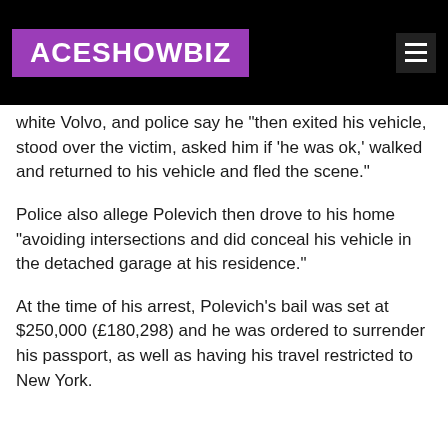ACESHOWBIZ
white Volvo, and police say he "then exited his vehicle, stood over the victim, asked him if 'he was ok,' walked and returned to his vehicle and fled the scene."
Police also allege Polevich then drove to his home "avoiding intersections and did conceal his vehicle in the detached garage at his residence."
At the time of his arrest, Polevich's bail was set at $250,000 (£180,298) and he was ordered to surrender his passport, as well as having his travel restricted to New York.